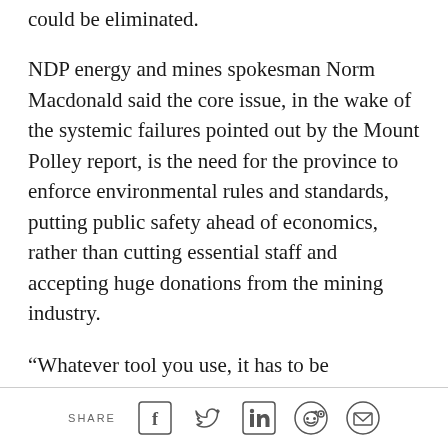could be eliminated.
NDP energy and mines spokesman Norm Macdonald said the core issue, in the wake of the systemic failures pointed out by the Mount Polley report, is the need for the province to enforce environmental rules and standards, putting public safety ahead of economics, rather than cutting essential staff and accepting huge donations from the mining industry.
“Whatever tool you use, it has to be something where there is no tolerance for failure,” Macdonald said.
“We don’t tolerate elevators or bridges falling down
SHARE [Facebook] [Twitter] [LinkedIn] [Reddit] [Email]